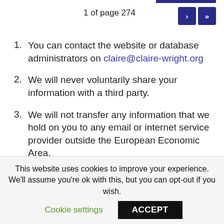1 of page 274
You can contact the website or database administrators on claire@claire-wright.org
We will never voluntarily share your information with a third party.
We will not transfer any information that we hold on you to any email or internet service provider outside the European Economic Area.
This website uses cookies to improve your experience. We'll assume you're ok with this, but you can opt-out if you wish.